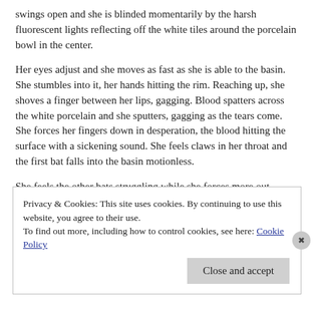swings open and she is blinded momentarily by the harsh fluorescent lights reflecting off the white tiles around the porcelain bowl in the center.
Her eyes adjust and she moves as fast as she is able to the basin. She stumbles into it, her hands hitting the rim. Reaching up, she shoves a finger between her lips, gagging. Blood spatters across the white porcelain and she sputters, gagging as the tears come. She forces her fingers down in desperation, the blood hitting the surface with a sickening sound. She feels claws in her throat and the first bat falls into the basin motionless.
She feels the other bats struggling while she forces more out.
Blood begins falling in the thick and continues the bowl...
Privacy & Cookies: This site uses cookies. By continuing to use this website, you agree to their use.
To find out more, including how to control cookies, see here: Cookie Policy